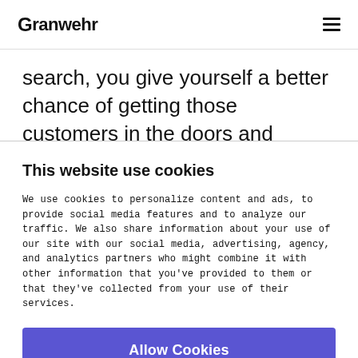Granwehr
search, you give yourself a better chance of getting those customers in the doors and purchasing your product.
This website use cookies
We use cookies to personalize content and ads, to provide social media features and to analyze our traffic. We also share information about your use of our site with our social media, advertising, agency, and analytics partners who might combine it with other information that you've provided to them or that they've collected from your use of their services.
Allow Cookies
Do not sell my information